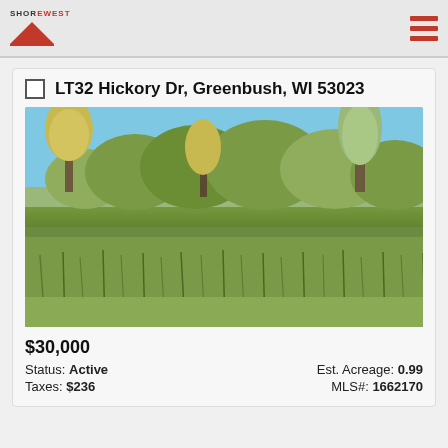Shorewest logo and navigation menu
LT32 Hickory Dr, Greenbush, WI 53023
[Figure (photo): Outdoor photo of a wooded vacant lot with tall grass, shrubs, and trees with yellow-green fall foliage under a clear blue sky]
$30,000
Status: Active
Est. Acreage: 0.99
Taxes: $236
MLS#: 1662170